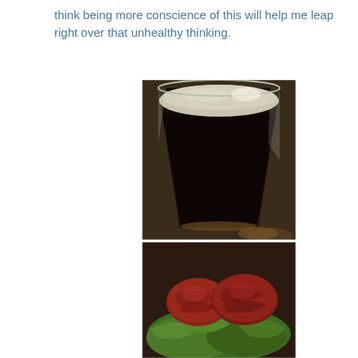think being more conscience of this will help me leap right over that unhealthy thinking.
[Figure (photo): Close-up photo of a dark beer (stout or porter) in a pint glass on a bar surface, showing creamy foam head at the top]
[Figure (photo): Close-up photo of what appears to be meat or food items with green garnish]